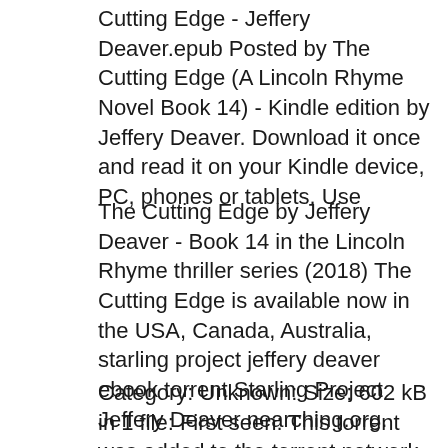Cutting Edge - Jeffery Deaver.epub Posted by The Cutting Edge (A Lincoln Rhyme Novel Book 14) - Kindle edition by Jeffery Deaver. Download it once and read it on your Kindle device, PC, phones or tablets. Use
The Cutting Edge by Jeffery Deaver - Book 14 in the Lincoln Rhyme thriller series (2018) The Cutting Edge is available now in the USA, Canada, Australia, starling project jeffery deaver ebook torrent Starling Project Jeffery Deaver nearching.org.
Category: Unknown: Size: 602 kB in 1 file: First seen: This torrent was added to the torrent network on 4/27/2018